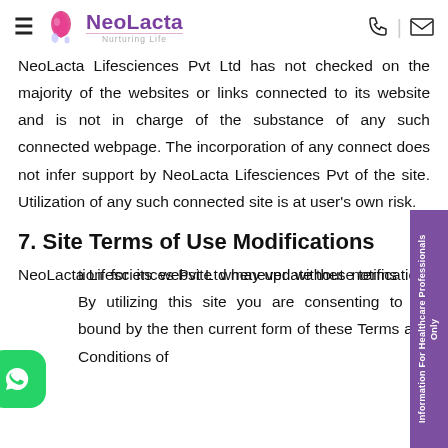NeoLacta Nurturing Life
NeoLacta Lifesciences Pvt Ltd has not checked on the majority of the websites or links connected to its website and is not in charge of the substance of any such connected webpage. The incorporation of any connect does not infer support by NeoLacta Lifesciences Pvt of the site. Utilization of any such connected site is at user's own risk.
7. Site Terms of Use Modifications
NeoLacta Lifesciences Pvt Ltd may update these terms tion for its website whenever without notification. By utilizing this site you are consenting to be bound by the then current form of these Terms and Conditions of
[Figure (logo): WhatsApp contact button, green rounded square with phone icon]